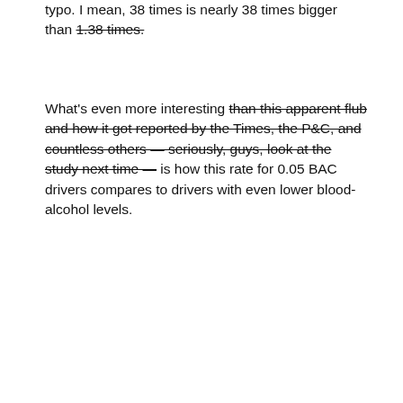typo. I mean, 38 times is nearly 38 times bigger than 1.38 times.
What's even more interesting than this apparent flub and how it got reported by the Times, the P&C, and countless others — seriously, guys, look at the study next time — is how this rate for 0.05 BAC drivers compares to drivers with even lower blood-alcohol levels.